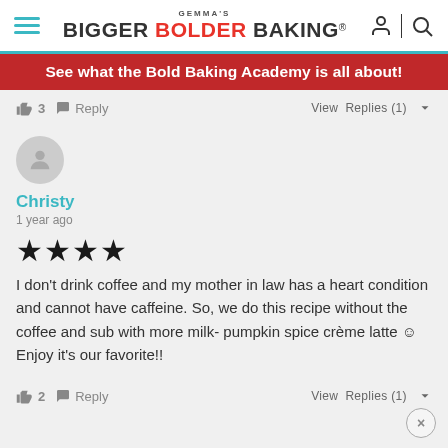[Figure (logo): Gemma's Bigger Bolder Baking website header logo with hamburger menu and search/user icons]
See what the Bold Baking Academy is all about!
👍 3   Reply   View Replies (1)
[Figure (illustration): Generic user avatar circle icon]
Christy
1 year ago
★★★★
I don't drink coffee and my mother in law has a heart condition and cannot have caffeine. So, we do this recipe without the coffee and sub with more milk- pumpkin spice crème latte 😊 Enjoy it's our favorite!!
👍 2   Reply   View Replies (1)